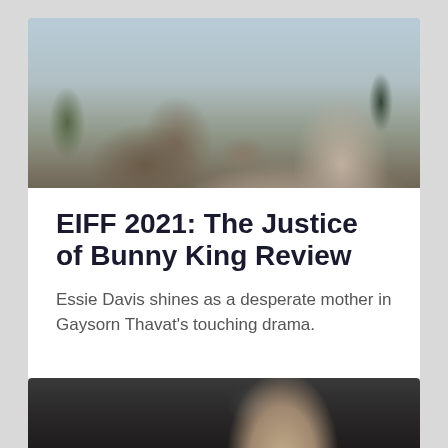[Figure (photo): Two young women leaning against an old beige/tan sedan car in a parking lot with trees in the background under a cloudy sky]
EIFF 2021: The Justice of Bunny King Review
Essie Davis shines as a desperate mother in Gaysorn Thavat's touching drama.
[Figure (photo): Partial view of a person's head/face against a dark grey background, bottom of page]